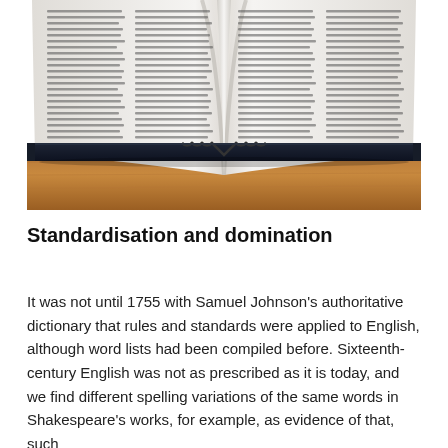[Figure (photo): An open hardcover book lying flat on a wooden table, photographed from the front. The pages are spread open showing two columns of dense text, with the spine visible at the center bottom of the open book.]
Standardisation and domination
It was not until 1755 with Samuel Johnson's authoritative dictionary that rules and standards were applied to English, although word lists had been compiled before. Sixteenth-century English was not as prescribed as it is today, and we find different spelling variations of the same words in Shakespeare's works, for example, as evidence of that, such